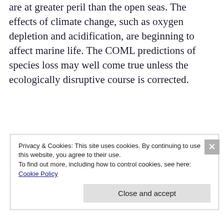are at greater peril than the open seas. The effects of climate change, such as oxygen depletion and acidification, are beginning to affect marine life. The COML predictions of species loss may well come true unless the ecologically disruptive course is corrected.
Privacy & Cookies: This site uses cookies. By continuing to use this website, you agree to their use.
To find out more, including how to control cookies, see here: Cookie Policy
Close and accept